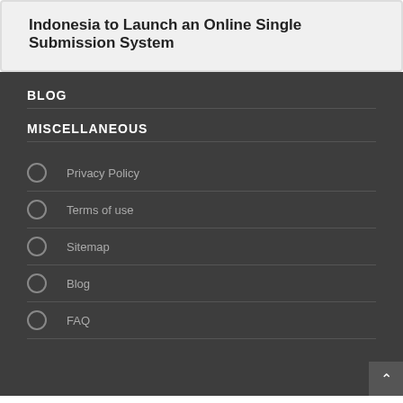Indonesia to Launch an Online Single Submission System
BLOG
MISCELLANEOUS
Privacy Policy
Terms of use
Sitemap
Blog
FAQ